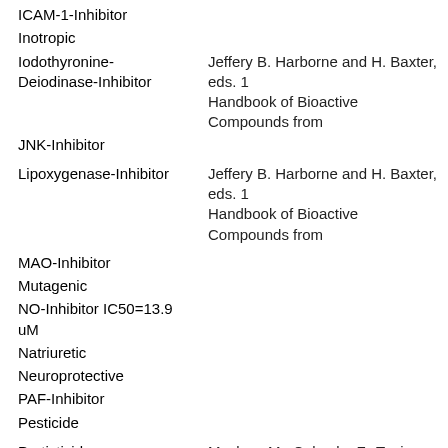ICAM-1-Inhibitor
Inotropic
Iodothyronine-Deiodinase-Inhibitor
Jeffery B. Harborne and H. Baxter, eds. 1 Handbook of Bioactive Compounds from
JNK-Inhibitor
Lipoxygenase-Inhibitor
Jeffery B. Harborne and H. Baxter, eds. 1 Handbook of Bioactive Compounds from
MAO-Inhibitor
Mutagenic
NO-Inhibitor IC50=13.9 uM
Natriuretic
Neuroprotective
PAF-Inhibitor
Pesticide
Protisticide
Meckes, M., Calzada, F., Tapia-Contreras Antiprotozoal Properties of Helianthemum 13(2): 102-105.
Quinone-Reductase-Inducer 3 uM
TNF-alpha-Inhibitor IC50=3.99 uM